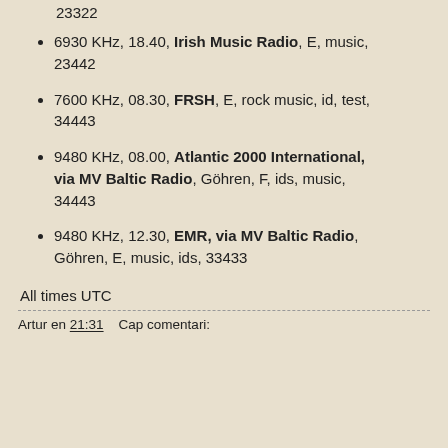23322
6930 KHz, 18.40, Irish Music Radio, E, music, 23442
7600 KHz, 08.30, FRSH, E, rock music, id, test, 34443
9480 KHz, 08.00, Atlantic 2000 International, via MV Baltic Radio, Göhren, F, ids, music, 34443
9480 KHz, 12.30, EMR, via MV Baltic Radio, Göhren, E, music, ids, 33433
All times UTC
Artur en 21:31    Cap comentari: